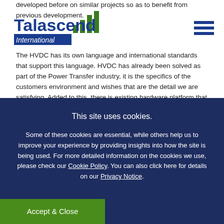developed before on similar projects so as to benefit from previous development.
[Figure (logo): Talascend International logo with green ascending bar chart icon and blue text]
The HVDC has its own language and international standards that support this language. HVDC has already been solved as part of the Power Transfer industry, it is the specifics of the customers environment and wishes that are the detail we are satisfying. Added to this, there is existing hardware platform that supports the Control system solution. This platform comprises several cabinets (called cubicles in HVDC parlance), each cabinet having several racks and each rack several multiprocessor
This site uses cookies.
Some of these cookies are essential, while others help us to improve your experience by providing insights into how the site is being used. For more detailed information on the cookies we use, please check our Cookie Policy. You can also click here for details on our Privacy Notice.
Accept & Close